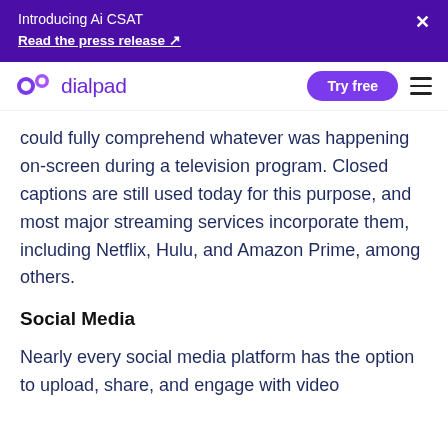Introducing Ai CSAT
Read the press release ↗
[Figure (logo): Dialpad logo with purple icon and wordmark]
could fully comprehend whatever was happening on-screen during a television program. Closed captions are still used today for this purpose, and most major streaming services incorporate them, including Netflix, Hulu, and Amazon Prime, among others.
Social Media
Nearly every social media platform has the option to upload, share, and engage with video